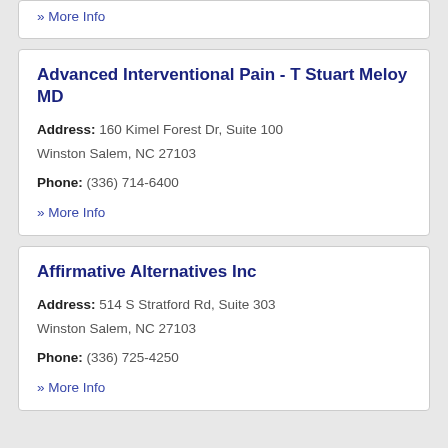» More Info
Advanced Interventional Pain - T Stuart Meloy MD
Address: 160 Kimel Forest Dr, Suite 100 Winston Salem, NC 27103
Phone: (336) 714-6400
» More Info
Affirmative Alternatives Inc
Address: 514 S Stratford Rd, Suite 303 Winston Salem, NC 27103
Phone: (336) 725-4250
» More Info